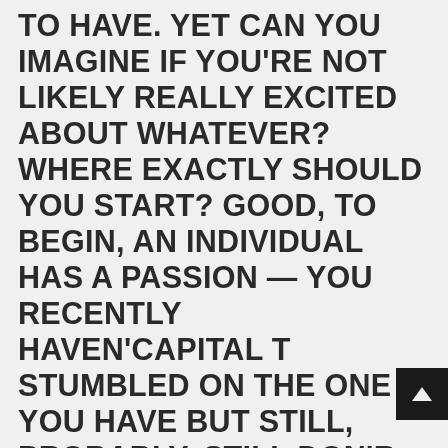TO HAVE. YET CAN YOU IMAGINE IF YOU'RE NOT LIKELY REALLY EXCITED ABOUT WHATEVER? WHERE EXACTLY SHOULD YOU START? GOOD, TO BEGIN, AN INDIVIDUAL HAS A PASSION — YOU RECENTLY HAVEN'CAPITAL T STUMBLED ON THE ONE YOU HAVE BUT STILL, PROBABLY. STILL DON'R FEAR, THERE ARE A LOT WITH STRAIGHTFORWARD (AND PAINLESS) TECHNIQUES TO DISCOVER JUST WHAT IT ALL IS. ARE 8 LEARN HOW TO DISCOVER WHAT YOU WISH TO